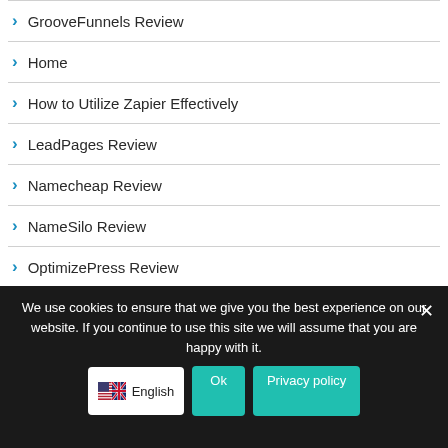GrooveFunnels Review
Home
How to Utilize Zapier Effectively
LeadPages Review
Namecheap Review
NameSilo Review
OptimizePress Review
Page Builder Purchase Considerations
SamCart Review
We use cookies to ensure that we give you the best experience on our website. If you continue to use this site we will assume that you are happy with it.
English
Privacy policy